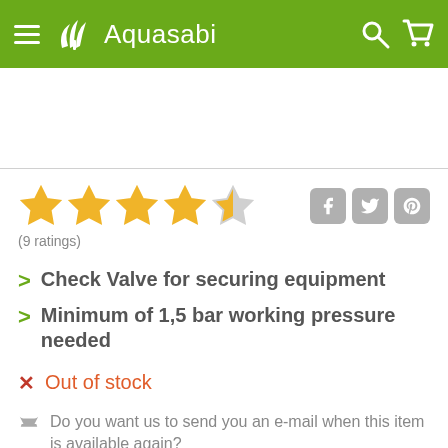Aquasabi
(9 ratings)
Check Valve for securing equipment
Minimum of 1,5 bar working pressure needed
Out of stock
Do you want us to send you an e-mail when this item is available again?